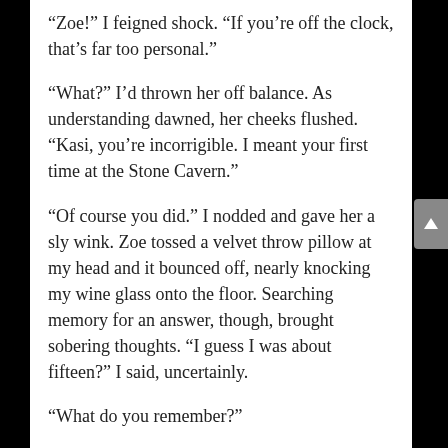“Zoe!” I feigned shock. “If you’re off the clock, that’s far too personal.”
“What?” I’d thrown her off balance. As understanding dawned, her cheeks flushed. “Kasi, you’re incorrigible. I meant your first time at the Stone Cavern.”
“Of course you did.” I nodded and gave her a sly wink. Zoe tossed a velvet throw pillow at my head and it bounced off, nearly knocking my wine glass onto the floor. Searching memory for an answer, though, brought sobering thoughts. “I guess I was about fifteen?” I said, uncertainly.
“What do you remember?”
“I’d been dreaming of a hike through the woods. A rainforest, I think. I followed the river.”
“Where were you going? Did you know about the